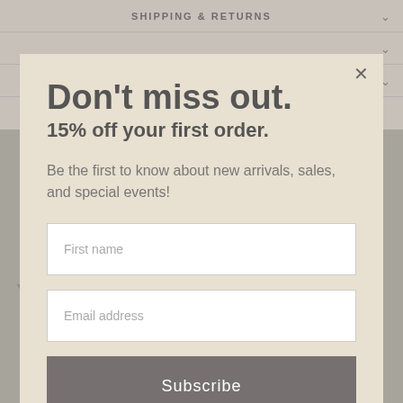SHIPPING & RETURNS
REVIEWS
Share  Tweet  Pin it
Don't miss out.
15% off your first order.
Be the first to know about new arrivals, sales, and special events!
First name
Email address
Subscribe
You May Also Like